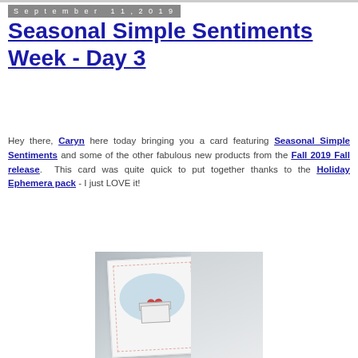September 11, 2019
Seasonal Simple Sentiments Week - Day 3
Hey there, Caryn here today bringing you a card featuring Seasonal Simple Sentiments and some of the other fabulous new products from the Fall 2019 Fall release. This card was quite quick to put together thanks to the Holiday Ephemera pack - I just LOVE it!
[Figure (photo): A crafted greeting card featuring a white card with a light blue oval, scalloped border, and a gift box with a red bow, photographed at an angle against a grey background.]